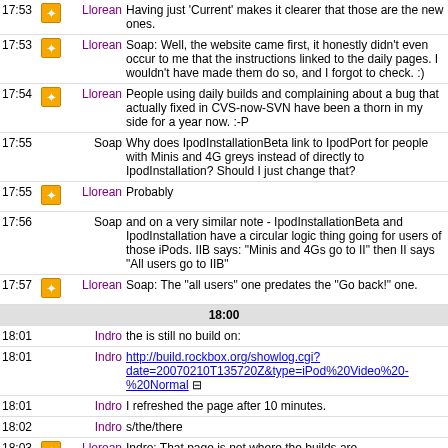17:53 Llorean: Having just 'Current' makes it clearer that those are the new ones.
17:53 Llorean: Soap: Well, the website came first, it honestly didn't even occur to me that the instructions linked to the daily pages. I wouldn't have made them do so, and I forgot to check. :)
17:54 Llorean: People using daily builds and complaining about a bug that actually fixed in CVS-now-SVN have been a thorn in my side for a year now. :-P
17:55 Soap: Why does IpodInstallationBeta link to IpodPort for people with Minis and 4G greys instead of directly to IpodInstallation? Should I just change that?
17:55 Llorean: Probably
17:56 Soap: and on a very similar note - IpodInstallationBeta and IpodInstallation have a circular logic thing going for users of those iPods. IIB says: "Minis and 4Gs go to II" then II says "All users go to IIB"
17:57 Llorean: Soap: The "all users" one predates the "Go back!" one.
18:00
18:01 Indro: the is still no build on:
18:01 Indro: http://build.rockbox.org/showlog.cgi?date=20070210T135720Z&type=iPod%20Video%20-%20Normal
18:01 Indro: I refreshed the page after 10 minutes.
18:02 Indro: s/the/there
18:03 Llorean: Indro: That page is not where the builds are.
18:03 Llorean: The 'current build' page has the downloads